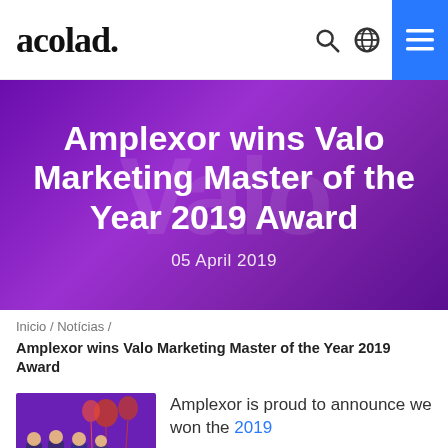acolad.
[Figure (photo): Hero banner with purple/violet gradient background showing 'Amplexor wins Valo Marketing Master of the Year 2019 Award' and date '05 April 2019']
Amplexor wins Valo Marketing Master of the Year 2019 Award
05 April 2019
Inicio / Noticias /
Amplexor wins Valo Marketing Master of the Year 2019 Award
[Figure (photo): Thumbnail photo of people at an award ceremony with '2019 Winner' badge at bottom left]
Amplexor is proud to announce we won the 2019